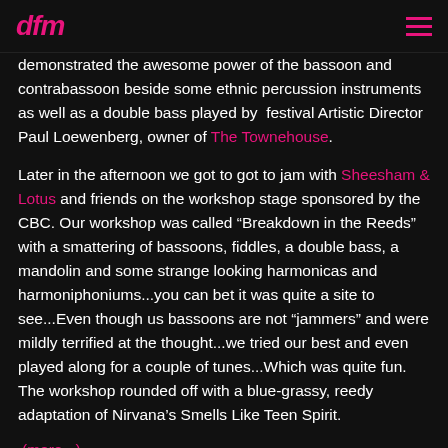dfm
demonstrated the awesome power of the bassoon and contrabassoon beside some ethnic percussion instruments as well as a double bass played by  festival Artistic Director Paul Loewenberg, owner of The Townehouse.
Later in the afternoon we got to got to jam with Sheesham & Lotus and friends on the workshop stage sponsored by the CBC. Our workshop was called “Breakdown in the Reeds” with a smattering of bassoons, fiddles, a double bass, a mandolin and some strange looking harmonicas and harmoniphoniums...you can bet it was quite a site to see...Even though us bassoons are not “jammers” and were mildly terrified at the thought...we tried our best and even played along for a couple of tunes...Which was quite fun. The workshop rounded off with a blue-grassy, reedy adaptation of Nirvana’s Smells Like Teen Spirit.
(more...)
Susan Durnin  8 years ago